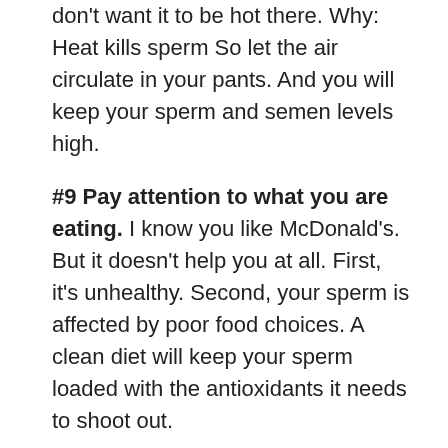don't want it to be hot there. Why: Heat kills sperm So let the air circulate in your pants. And you will keep your sperm and semen levels high.
#9 Pay attention to what you are eating. I know you like McDonald's. But it doesn't help you at all. First, it's unhealthy. Second, your sperm is affected by poor food choices. A clean diet will keep your sperm loaded with the antioxidants it needs to shoot out.
You should eat more foods like prunes, apples, artichokes and berries if you want to shed more. [Read: The many tastes of cum – Straight from women's mouths]